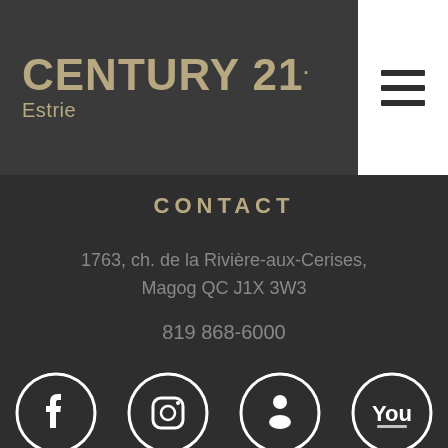CENTURY 21 Estrie
CONTACT
1763, ch. de la Rivière-aux-Cerises, Magog QC J1X 3W3
819 868-6000
CONCEPTION LACOSTA®
[Figure (illustration): Four social media icon circles (Facebook, Instagram, LinkedIn, YouTube) partially visible at bottom]